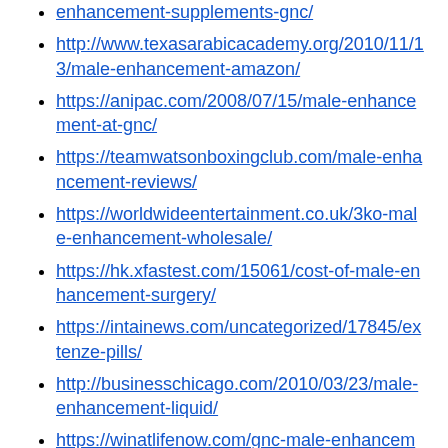enhancement-supplements-gnc/
http://www.texasarabicacademy.org/2010/11/13/male-enhancement-amazon/
https://anipac.com/2008/07/15/male-enhancement-at-gnc/
https://teamwatsonboxingclub.com/male-enhancement-reviews/
https://worldwideentertainment.co.uk/3ko-male-enhancement-wholesale/
https://hk.xfastest.com/15061/cost-of-male-enhancement-surgery/
https://intainews.com/uncategorized/17845/extenze-pills/
http://businesschicago.com/2010/03/23/male-enhancement-liquid/
https://winatlifenow.com/gnc-male-enhancement/
https://12voltfuelvalves.com/uncategorized/male-enhancement-pills-that-work-fast/
https://playgrounds.productions/l-arginine-male-